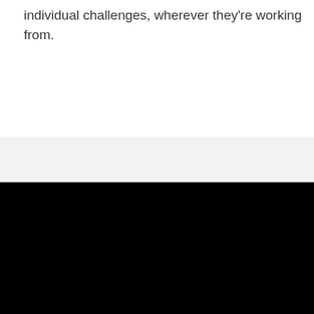individual challenges, wherever they're working from.
Notice
We and selected third parties use cookies or similar technologies for technical purposes and, with your consent, for other purposes as specified in the cookie policy. Denying consent may make related features unavailable.
You can consent to the use of such technologies by closing this notice, by scrolling this page, by interacting with any link or button outside of this notice or by continuing to browse otherwise.